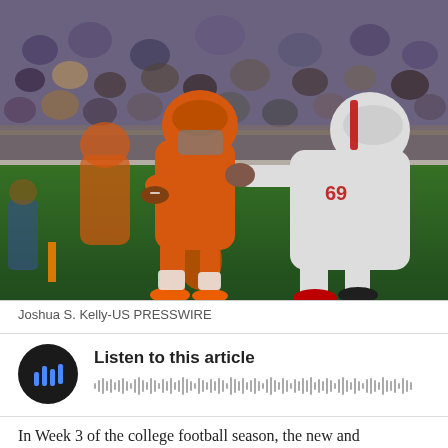[Figure (photo): A Clemson football player in orange uniform carrying the ball while being tackled by a defender in white uniform (#69), photographed during a night game on a green field with crowd in background.]
Joshua S. Kelly-US PRESSWIRE
Listen to this article
In Week 3 of the college football season, the new and